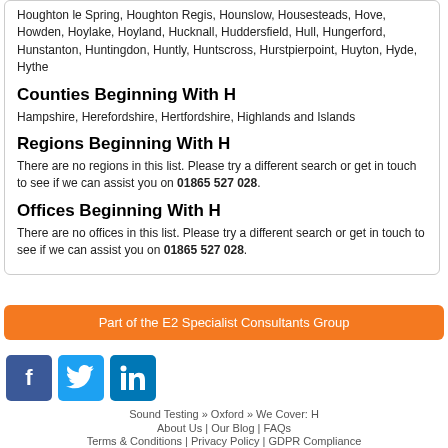Houghton le Spring, Houghton Regis, Hounslow, Housesteads, Hove, Howden, Hoylake, Hoyland, Hucknall, Huddersfield, Hull, Hungerford, Hunstanton, Huntingdon, Huntly, Huntscross, Hurstpierpoint, Huyton, Hyde, Hythe
Counties Beginning With H
Hampshire, Herefordshire, Hertfordshire, Highlands and Islands
Regions Beginning With H
There are no regions in this list. Please try a different search or get in touch to see if we can assist you on 01865 527 028.
Offices Beginning With H
There are no offices in this list. Please try a different search or get in touch to see if we can assist you on 01865 527 028.
Part of the E2 Specialist Consultants Group
[Figure (illustration): Social media icons: Facebook (blue), Twitter (light blue), LinkedIn (blue)]
Sound Testing » Oxford » We Cover: H
About Us | Our Blog | FAQs
Terms & Conditions | Privacy Policy | GDPR Compliance